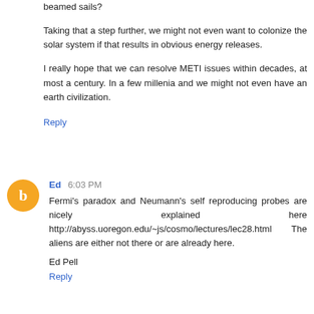beamed sails?
Taking that a step further, we might not even want to colonize the solar system if that results in obvious energy releases.
I really hope that we can resolve METI issues within decades, at most a century. In a few millenia and we might not even have an earth civilization.
Reply
Ed  6:03 PM
Fermi's paradox and Neumann's self reproducing probes are nicely explained here http://abyss.uoregon.edu/~js/cosmo/lectures/lec28.html The aliens are either not there or are already here.
Ed Pell
Reply